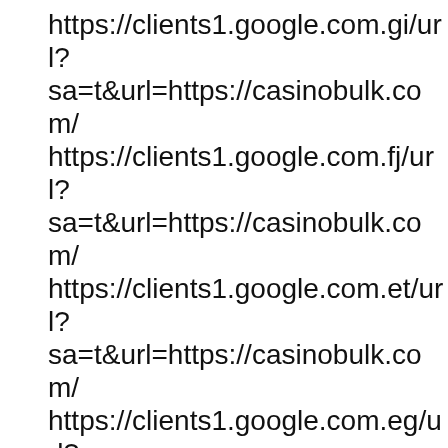https://clients1.google.com.gi/url?sa=t&url=https://casinobulk.com/
https://clients1.google.com.fj/url?sa=t&url=https://casinobulk.com/
https://clients1.google.com.et/url?sa=t&url=https://casinobulk.com/
https://clients1.google.com.eg/url?sa=t&url=https://casinobulk.com/
https://clients1.google.com.ec/url?sa=t&url=https://casinobulk.com/
https://clients1.google.com.do/url?sa=t&url=https://casinobulk.com/
https://clients1.google.com.co/url?sa=t&url=https://casinobulk.com/
https://clients1.google.com.co/url?q=https://casinobulk.com/
https://clients1.google.com.bz/url?sa=t&url=https://casinobulk.com/
https://clients1.google.com.bh/url?